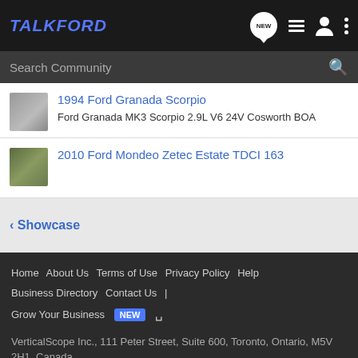TALK FORD
Search Community
1994 Ford Granada Scorpio
Ford Granada MK3 Scorpio 2.9L V6 24V Cosworth BOA
2010 Ford Mondeo Zetec Estate TDCI 163
< Showcase
Home  About Us  Terms of Use  Privacy Policy  Help  Business Directory  Contact Us  |  Grow Your Business  NEW  RSS
VerticalScope Inc., 111 Peter Street, Suite 600, Toronto, Ontario, M5V 2H1, Canada